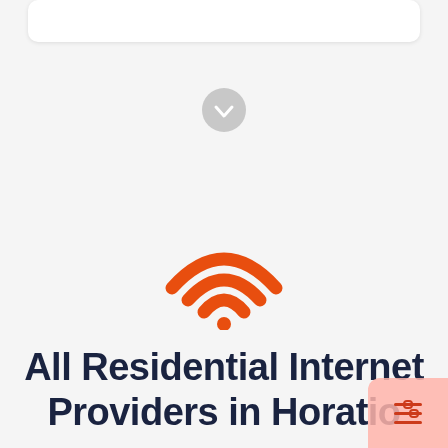[Figure (illustration): White rounded card at the top of the page on a light grey background]
[Figure (illustration): Grey circular button with a white downward arrow, indicating scroll down]
[Figure (illustration): Orange WiFi signal icon with three arcs and a dot]
All Residential Internet Providers in Horatio